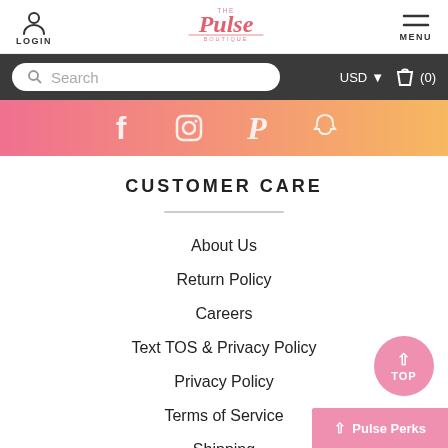LOGIN | The Pulse Boutique | MENU
[Figure (screenshot): Search bar with USD currency selector and cart icon (0) on dark background]
[Figure (illustration): Social media icons banner with pink to orange gradient background showing Facebook, Instagram, Pinterest, and Snapchat icons]
CUSTOMER CARE
About Us
Return Policy
Careers
Text TOS & Privacy Policy
Privacy Policy
Terms of Service
Shipping